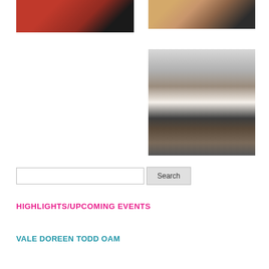[Figure (photo): Photo of two people at an event, red background, woman holding certificate]
[Figure (photo): Photo of two people at an awards event, wooden floor background]
[Figure (photo): Two women in an office, one handing a document to the other]
Search
HIGHLIGHTS/UPCOMING EVENTS
VALE DOREEN TODD OAM